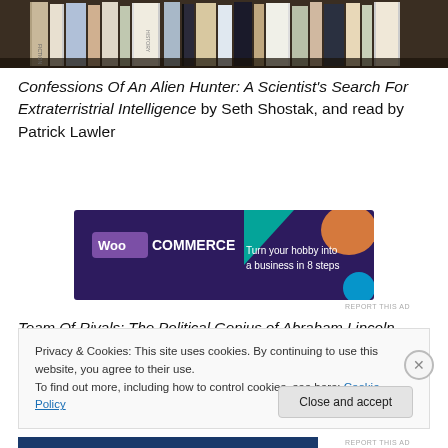[Figure (photo): A row of books standing upright on a shelf, viewed from above at an angle, dark tones]
Confessions Of An Alien Hunter: A Scientist's Search For Extraterristrial Intelligence  by Seth Shostak, and read by Patrick Lawler
[Figure (screenshot): WooCommerce advertisement banner: 'Turn your hobby into a business in 8 steps']
REPORT THIS AD
Team Of Rivals: The Political Genius of Abraham Lincoln
Privacy & Cookies: This site uses cookies. By continuing to use this website, you agree to their use.
To find out more, including how to control cookies, see here: Cookie Policy
Close and accept